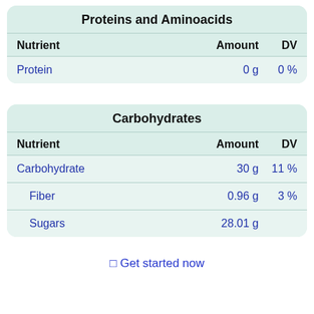| Nutrient | Amount | DV |
| --- | --- | --- |
| Protein | 0 g | 0 % |
| Nutrient | Amount | DV |
| --- | --- | --- |
| Carbohydrate | 30 g | 11 % |
| Fiber | 0.96 g | 3 % |
| Sugars | 28.01 g |  |
⊡ Get started now